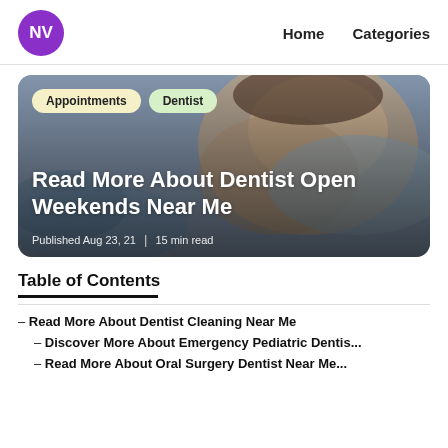NV  Home  Categories
[Figure (photo): Child at dentist office smiling while a dentist in blue gloves examines their teeth. Two category tags overlay the top-left: 'Appointments' and 'Dentist'. Title text reads 'Read More About Dentist Open Weekends Near Me'. Published Aug 23, 21 | 15 min read.]
Table of Contents
– Read More About Dentist Cleaning Near Me
– Discover More About Emergency Pediatric Dentis...
– Read More About Oral Surgery Dentist Near Me...